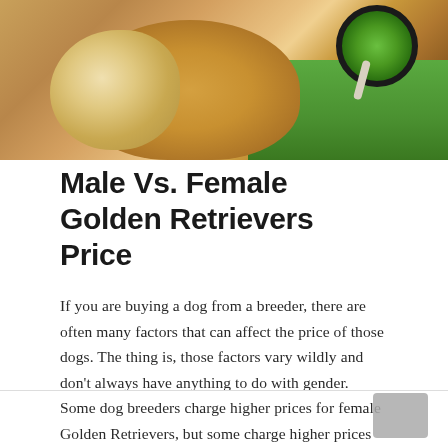[Figure (photo): Two Golden Retrievers — a puppy and an adult — lying on grass with a green circular toy visible in the background.]
Male Vs. Female Golden Retrievers Price
If you are buying a dog from a breeder, there are often many factors that can affect the price of those dogs. The thing is, those factors vary wildly and don't always have anything to do with gender. Some dog breeders charge higher prices for female Golden Retrievers, but some charge higher prices for males.